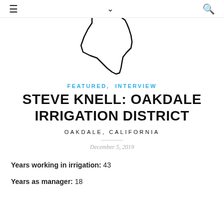≡  ∨  🔍
[Figure (illustration): Outline map shape of a California irrigation district region, black line drawing on white background]
FEATURED, INTERVIEW
STEVE KNELL: OAKDALE IRRIGATION DISTRICT
OAKDALE, CALIFORNIA
December 5, 2019
Years working in irrigation: 43
Years as manager: 18